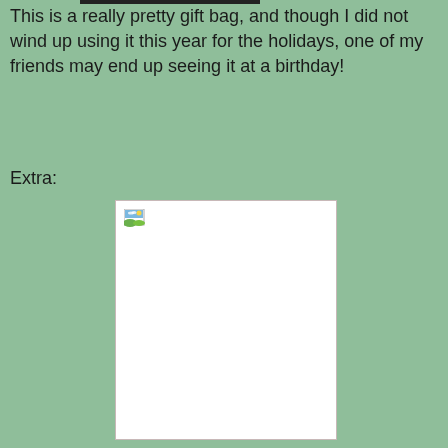This is a really pretty gift bag, and though I did not wind up using it this year for the holidays, one of my friends may end up seeing it at a birthday!
Extra:
[Figure (photo): A broken/missing image placeholder showing a small landscape icon in the top-left corner of a white rectangle with a light border.]